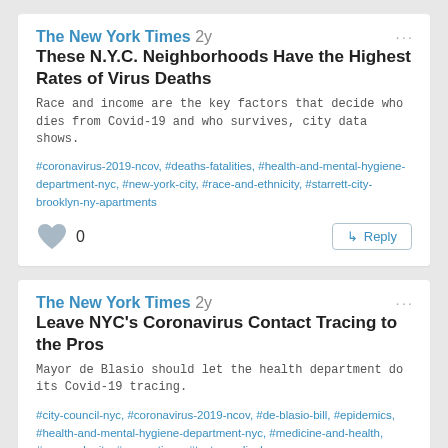The New York Times 2y
These N.Y.C. Neighborhoods Have the Highest Rates of Virus Deaths
Race and income are the key factors that decide who dies from Covid-19 and who survives, city data shows.
#coronavirus-2019-ncov, #deaths-fatalities, #health-and-mental-hygiene-department-nyc, #new-york-city, #race-and-ethnicity, #starrett-city-brooklyn-ny-apartments
The New York Times 2y
Leave NYC's Coronavirus Contact Tracing to the Pros
Mayor de Blasio should let the health department do its Covid-19 tracing.
#city-council-nyc, #coronavirus-2019-ncov, #de-blasio-bill, #epidemics, #health-and-mental-hygiene-department-nyc, #medicine-and-health, #new-york-city, #quarantines, #tests-medical
The New York Times 2y